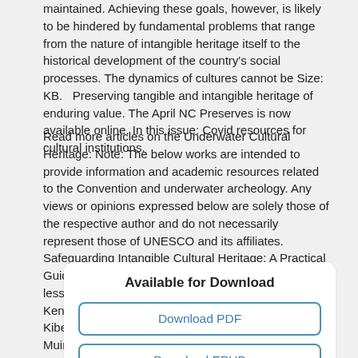maintained. Achieving these goals, however, is likely to be hindered by fundamental problems that range from the nature of intangible heritage itself to the historical development of the country's social processes. The dynamics of cultures cannot be Size: KB.   Preserving tangible and intangible heritage of enduring value. The April NC Preserves is now available online. In this issue: Covid resources for cultural institutions.
Read more articles on the Underwater Cultural Heritage: Note: The below works are intended to provide information and academic resources related to the Convention and underwater archeology. Any views or opinions expressed below are solely those of the respective author and do not necessarily represent those of UNESCO and its affiliates. Safeguarding Intangible Cultural Heritage: A Practical Guide to Documenting Traditional Foodways Using lessons from the Isukha and Pokot communities of Kenya Compiled by: Patrick Maundu, E. Bosibori, S. Kibet, Y. Morimoto, A. Odubo, Brian Kapeta, Patel Muiruri, Ruth Adeka, Julia Ombonya Editors: Patrick Maundu, Brian Kapeta, Patel Muiruri.
Available for Download
Download PDF
Download EPUB